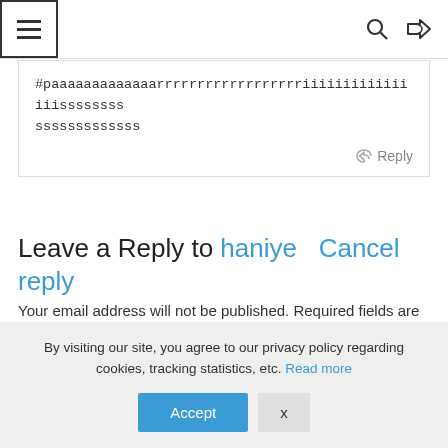≡  🔍  ⇌
#paaaaaaaaaaaaarrrrrrrrrrrrrrrrrriiiiiiiiiiiiiiiissssssssssssssssss
Reply
Leave a Reply to haniye   Cancel reply
Your email address will not be published. Required fields are marked *
Comment *
By visiting our site, you agree to our privacy policy regarding cookies, tracking statistics, etc. Read more
Accept   X